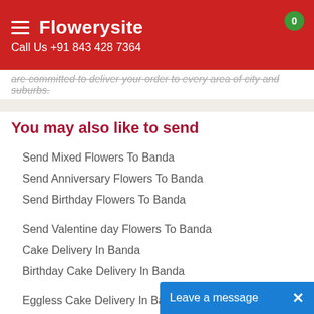Flowerysite
Call Us +91 843 428 7364
are committed to deliver your order to every area of city and suburbs.
You may also like to send
Send Mixed Flowers To Banda
Send Anniversary Flowers To Banda
Send Birthday Flowers To Banda
Send Valentine day Flowers To Banda
Cake Delivery In Banda
Birthday Cake Delivery In Banda
Eggless Cake Delivery In Banda
5 Star Cake Delivery In Banda
Send Gifts To Banda
Send Teddy Bears To Banda
Leave a message